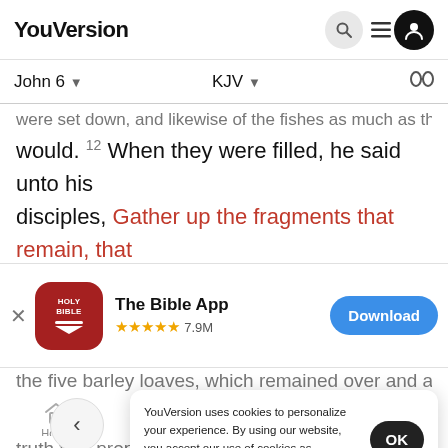YouVersion
John 6 | KJV
were set down, and likewise of the fishes as much as they would. 12 When they were filled, he said unto his disciples, Gather up the fragments that remain, that
[Figure (screenshot): The Bible App promotion banner with app icon, 4.5 star rating, 7.9M reviews, and Download button]
the five barley loaves, which remained over and above
YouVersion uses cookies to personalize your experience. By using our website, you accept our use of cookies as described in our Privacy Policy.
truth that prophet that should come into the world
Home | Bible | Plans | Videos